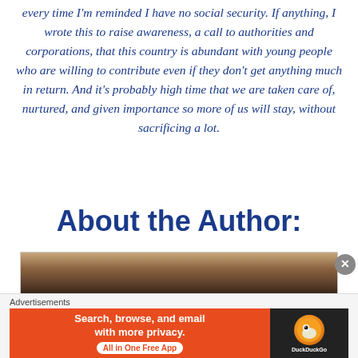every time I'm reminded I have no social security. If anything, I wrote this to raise awareness, a call to authorities and corporations, that this country is abundant with young people who are willing to contribute even if they don't get anything much in return. And it's probably high time that we are taken care of, nurtured, and given importance so more of us will stay, without sacrificing a lot.
About the Author:
[Figure (photo): Partial photo of a person wearing a red/pink knitted beanie hat, cropped at bottom of frame, with blue sky visible]
Advertisements
[Figure (screenshot): DuckDuckGo advertisement banner: orange-red background on left with text 'Search, browse, and email with more privacy. All in One Free App', and black background on right with DuckDuckGo logo]